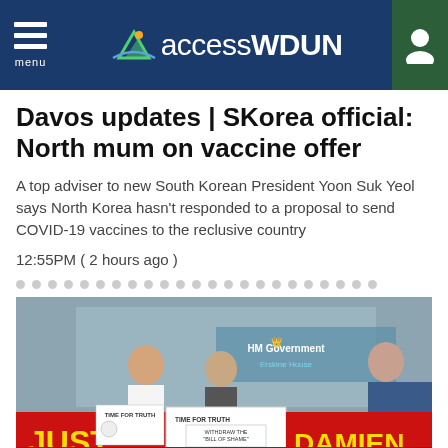accessWDUN
Davos updates | SKorea official: North mum on vaccine offer
A top adviser to new South Korean President Yoon Suk Yeol says North Korea hasn't responded to a proposal to send COVID-19 vaccines to the reclusive country
12:55PM ( 2 hours ago )
[Figure (photo): People holding protest banners outside HM Government Erskine House. Banners read 'TIME FOR TRUTH', 'WITHDRAW THE BILL OF SHAME', 'JUST DAMIEN MURDERED AGED 17']